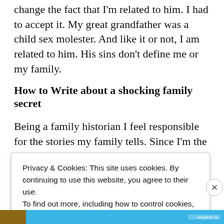change the fact that I'm related to him. I had to accept it. My great grandfather was a child sex molester. And like it or not, I am related to him. His sins don't define me or my family.
How to Write about a shocking family secret
Being a family historian I feel responsible for the stories my family tells. Since I'm the one doing
Privacy & Cookies: This site uses cookies. By continuing to use this website, you agree to their use.
To find out more, including how to control cookies, see here: Cookie Policy
Close and accept